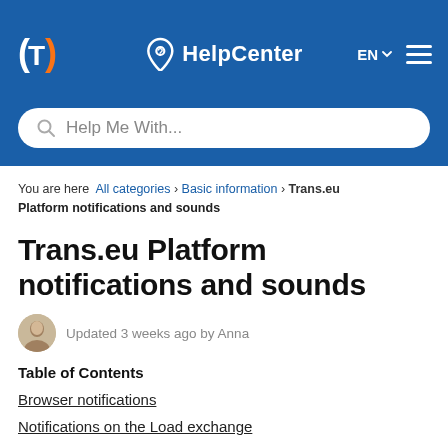[Figure (screenshot): Trans.eu HelpCenter website header with logo, HelpCenter title with location pin icon, EN language selector, and hamburger menu on blue background]
You are here  All categories › Basic information › Trans.eu Platform notifications and sounds
Trans.eu Platform notifications and sounds
Updated 3 weeks ago by Anna
Table of Contents
Browser notifications
Notifications on the Load exchange
Messenger notifications